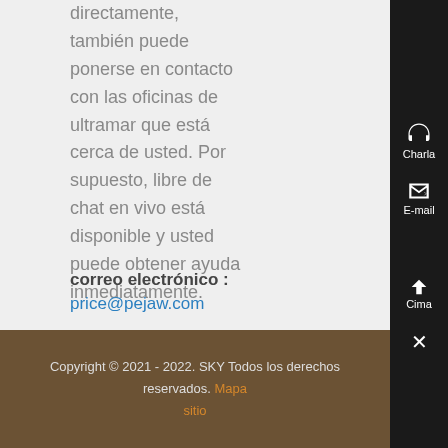directamente, también puede ponerse en contacto con las oficinas de ultramar que está cerca de usted. Por supuesto, libre de chat en vivo está disponible y usted puede obtener ayuda inmediatamente.
correo electrónico : price@pejaw.com
Copyright © 2021 - 2022. SKY Todos los derechos reservados. Mapa sitio